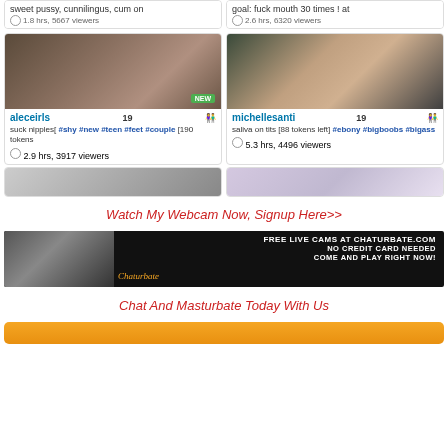[Figure (screenshot): Two webcam stream cards at top: left card shows 'sweet pussy, cunnilingus, cum on' with 1.8 hrs, 5667 viewers; right card shows 'goal: fuck mouth 30 times ! at' with 2.6 hrs, 6320 viewers]
[Figure (screenshot): Two webcam stream cards: left card for 'aleceirls' age 19, description 'suck nipples[ #shy #new #teen #feet #couple [190 tokens', 2.9 hrs 3917 viewers, NEW badge; right card for 'michellesanti' age 19, description 'saliva on tits [88 tokens left] #ebony #bigboobs #bigass', 5.3 hrs 4496 viewers]
[Figure (screenshot): Two partial webcam stream cards at bottom row]
Watch My Webcam Now, Signup Here>>
[Figure (photo): Chaturbate banner ad: FREE LIVE CAMS AT CHATURBATE.COM NO CREDIT CARD NEEDED COME AND PLAY RIGHT NOW!]
Chat And Masturbate Today With Us
[Figure (other): Orange button partially visible at bottom]